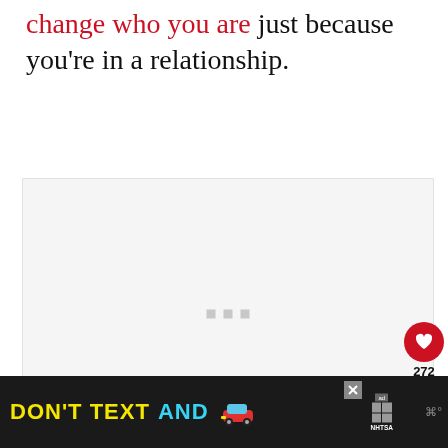change who you are just because you're in a relationship.
[Figure (screenshot): Light grey image placeholder area with three small grey dots in the center, partially loaded or blank image region.]
[Figure (infographic): Heart/like button (red circle with white heart icon), like count showing 272, and a share button (white circle with share icon).]
WHAT'S NEXT → 8 Sex Moves That Will Ma...
[Figure (photo): Small thumbnail image for 'What's Next' article.]
[Figure (screenshot): Advertisement banner: 'DON'T TEXT AND [car emoji]' with ad badge and NHTSA logo, close button, and wifi symbol.]